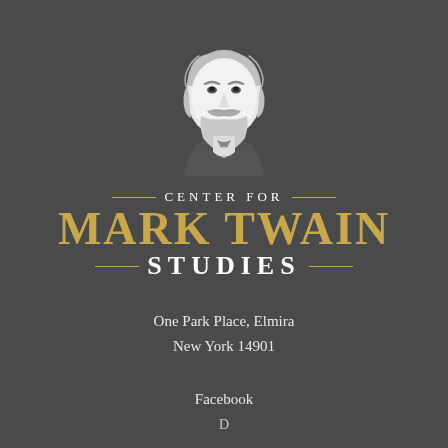[Figure (illustration): White illustrated portrait of Mark Twain on dark gray background]
CENTER FOR MARK TWAIN STUDIES
One Park Place, Elmira
New York 14901
Facebook
Domain